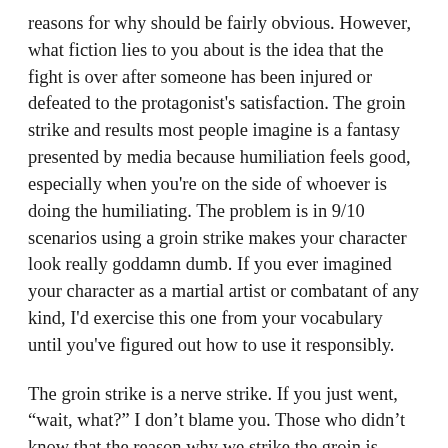reasons for why should be fairly obvious. However, what fiction lies to you about is the idea that the fight is over after someone has been injured or defeated to the protagonist's satisfaction. The groin strike and results most people imagine is a fantasy presented by media because humiliation feels good, especially when you're on the side of whoever is doing the humiliating. The problem is in 9/10 scenarios using a groin strike makes your character look really goddamn dumb. If you ever imagined your character as a martial artist or combatant of any kind, I'd exercise this one from your vocabulary until you've figured out how to use it responsibly.
The groin strike is a nerve strike. If you just went, "wait, what?" I don't blame you. Those who didn't know that the reason why we strike the groin is because there are a lot of nerve endings in your private parts. Your nerves communicate pleasure and pain to your brain. This is why pressure point strikes work.
Pressure points mess with your nervous system, those are the